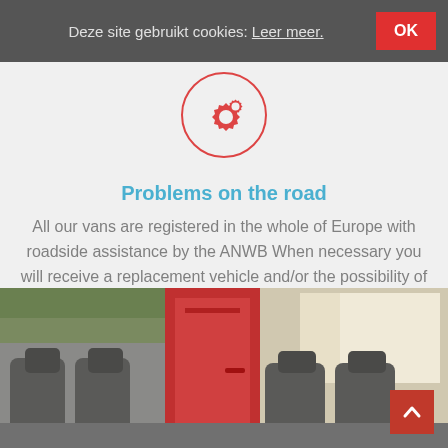Deze site gebruikt cookies: Leer meer. OK
[Figure (illustration): Red circle outline with gear/settings icon inside]
Problems on the road
All our vans are registered in the whole of Europe with roadside assistance by the ANWB When necessary you will receive a replacement vehicle and/or the possibility of a hotel.
[Figure (photo): Interior of a red van showing passenger seats visible through open side door, with green vegetation visible outside]